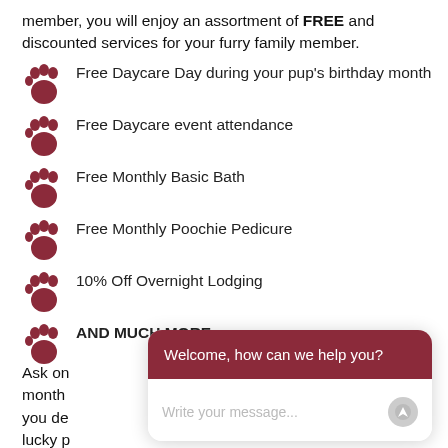member, you will enjoy an assortment of FREE and discounted services for your furry family member.
Free Daycare Day during your pup's birthday month
Free Daycare event attendance
Free Monthly Basic Bath
Free Monthly Poochie Pedicure
10% Off Overnight Lodging
AND MUCH MORE
Ask on month you de lucky p
[Figure (screenshot): Chat widget overlay with dark red header reading 'Welcome, how can we help you?' and a message input field below, with a close (X) button in gray circle to the upper right.]